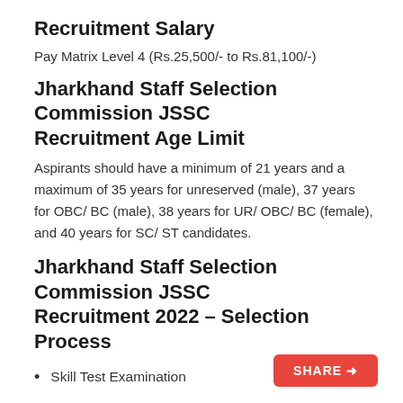Recruitment Salary
Pay Matrix Level 4 (Rs.25,500/- to Rs.81,100/-)
Jharkhand Staff Selection Commission JSSC Recruitment Age Limit
Aspirants should have a minimum of 21 years and a maximum of 35 years for unreserved (male), 37 years for OBC/ BC (male), 38 years for UR/ OBC/ BC (female), and 40 years for SC/ ST candidates.
Jharkhand Staff Selection Commission JSSC Recruitment 2022 – Selection Process
Skill Test Examination
Written Examination